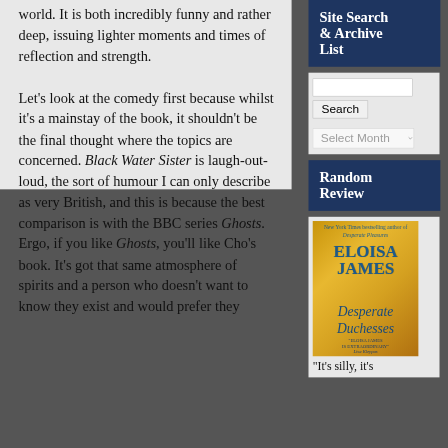world. It is both incredibly funny and rather deep, issuing lighter moments and times of reflection and strength.

Let's look at the comedy first because whilst it's a mainstay of the book, it shouldn't be the final thought where the topics are concerned. Black Water Sister is laugh-out-loud, the sort of humour I can only describe as very British, and this is because the best comparison is with the BBC series Ghosts. Ergo, if you like Ghosts, you'll like Cho's book. It's got that same atmosphere of spirits and a person who doesn't want to know they exist and would prefer they
Site Search & Archive List
[Figure (screenshot): Search input box]
Search
Select Month
Random Review
[Figure (photo): Book cover: Eloisa James - Desperate Duchesses]
"It's silly, it's